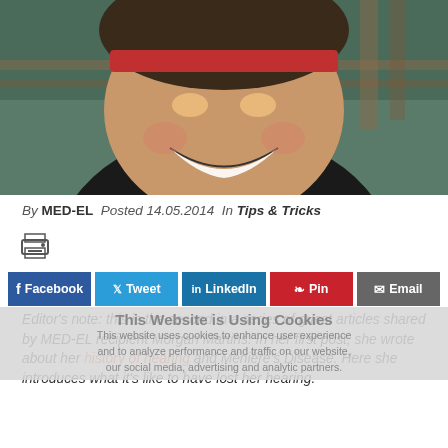[Figure (photo): Close-up photo of a smiling person wearing a red headband and dark shirt, outdoors with wooden structure in background]
By MED-EL  Posted 14.05.2014  In Tips & Tricks
[Figure (other): Print icon]
[Figure (other): Social share buttons: Facebook, Tweet, LinkedIn, Pin, Email]
This Website is Using Cookies
This website uses cookies to enhance user experience and to analyze performance and traffic on our website, our social media, advertising and analytic partners.
Editor's note: this is the second in a series of guest articles shared by MED-EL recipient Morgan Martins. In her first post, she wrote about her history of hearing and Ménière's Disease. Here she introduces what it's like to have lost her hearing.